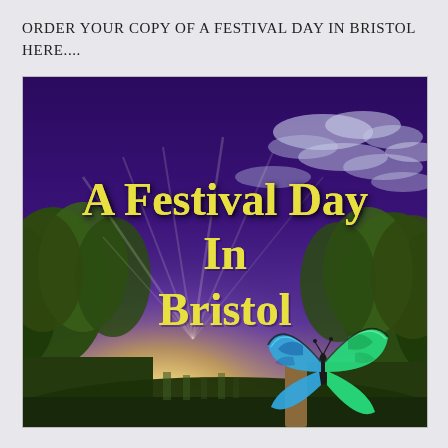ORDER YOUR COPY OF A FESTIVAL DAY IN BRISTOL HERE....
[Figure (illustration): Book cover for 'A Festival Day In Bristol' showing a fantasy landscape with a deep purple sky filled with dramatic clouds, sunrays bursting through trees, lush green forest on both sides, a wooden fence post, and a large vivid blue-green butterfly perched on the post in the foreground. The title 'A Festival Day In Bristol' is written in large yellow-cream decorative serif font in the center of the image.]